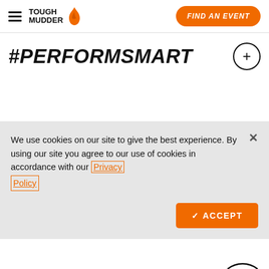Tough Mudder — Navigation bar with hamburger menu, logo, and FIND AN EVENT button
#PERFORMSMART
We use cookies on our site to give the best experience. By using our site you agree to our use of cookies in accordance with our Privacy Policy
✓ ACCEPT